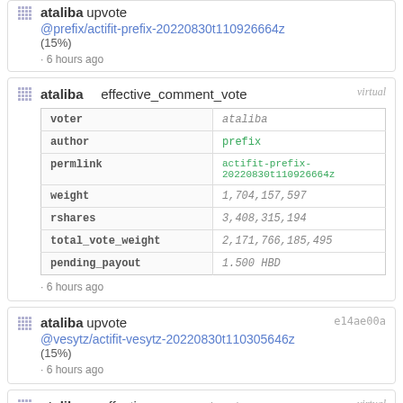ataliba upvote @prefix/actifit-prefix-20220830t110926664z (15%) · 6 hours ago
ataliba effective_comment_vote
| field | value |
| --- | --- |
| voter | ataliba |
| author | prefix |
| permlink | actifit-prefix-20220830t110926664z |
| weight | 1,704,157,597 |
| rshares | 3,408,315,194 |
| total_vote_weight | 2,171,766,185,495 |
| pending_payout | 1.500 HBD |
· 6 hours ago
ataliba upvote @vesytz/actifit-vesytz-20220830t110305646z (15%) · 6 hours ago
ataliba effective_comment_vote
| field | value |
| --- | --- |
| voter | ataliba |
| author | vesytz |
| permlink | actifit-vesytz-20220830t110305646z |
| weight | 1,709,058,222 |